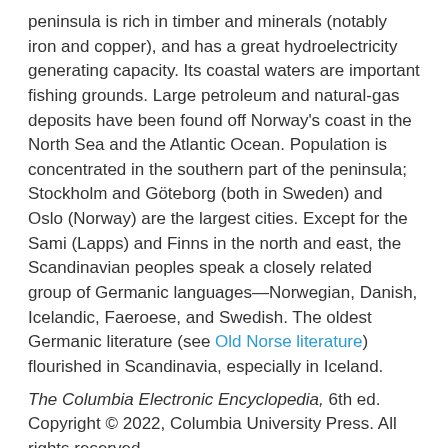peninsula is rich in timber and minerals (notably iron and copper), and has a great hydroelectricity generating capacity. Its coastal waters are important fishing grounds. Large petroleum and natural-gas deposits have been found off Norway's coast in the North Sea and the Atlantic Ocean. Population is concentrated in the southern part of the peninsula; Stockholm and Göteborg (both in Sweden) and Oslo (Norway) are the largest cities. Except for the Sami (Lapps) and Finns in the north and east, the Scandinavian peoples speak a closely related group of Germanic languages—Norwegian, Danish, Icelandic, Faeroese, and Swedish. The oldest Germanic literature (see Old Norse literature) flourished in Scandinavia, especially in Iceland.
The Columbia Electronic Encyclopedia, 6th ed. Copyright © 2022, Columbia University Press. All rights reserved.
See more Encyclopedia articles on: Scandinavian Political Geography